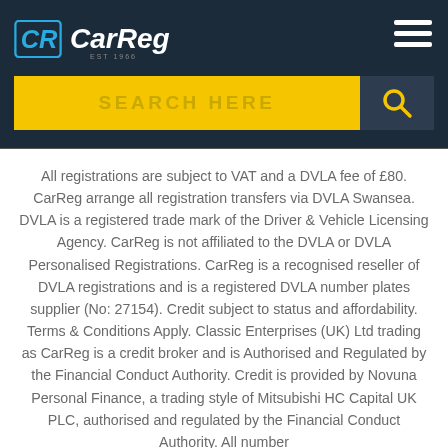[Figure (logo): CarReg logo with blue CR icon and white italic CarReg text on dark background]
[Figure (screenshot): Yellow search bar with text SEARCH HERE and dark search button with magnifying glass icon]
All registrations are subject to VAT and a DVLA fee of £80. CarReg arrange all registration transfers via DVLA Swansea. DVLA is a registered trade mark of the Driver & Vehicle Licensing Agency. CarReg is not affiliated to the DVLA or DVLA Personalised Registrations. CarReg is a recognised reseller of DVLA registrations and is a registered DVLA number plates supplier (No: 27154). Credit subject to status and affordability. Terms & Conditions Apply. Classic Enterprises (UK) Ltd trading as CarReg is a credit broker and is Authorised and Regulated by the Financial Conduct Authority. Credit is provided by Novuna Personal Finance, a trading style of Mitsubishi HC Capital UK PLC, authorised and regulated by the Financial Conduct Authority. All number